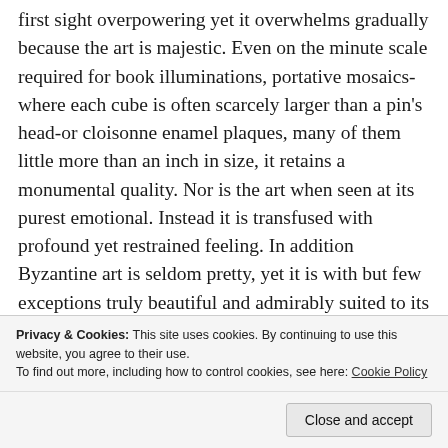first sight overpowering yet it overwhelms gradually because the art is majestic. Even on the minute scale required for book illuminations, portative mosaics-where each cube is often scarcely larger than a pin's head-or cloisonne enamel plaques, many of them little more than an inch in size, it retains a monumental quality. Nor is the art when seen at its purest emotional. Instead it is transfused with profound yet restrained feeling. In addition Byzantine art is seldom pretty, yet it is with but few exceptions truly beautiful and admirably suited to its main purpose. Furthermore, it is astonishingly distinctive and could never be
Privacy & Cookies: This site uses cookies. By continuing to use this website, you agree to their use.
To find out more, including how to control cookies, see here: Cookie Policy
Close and accept